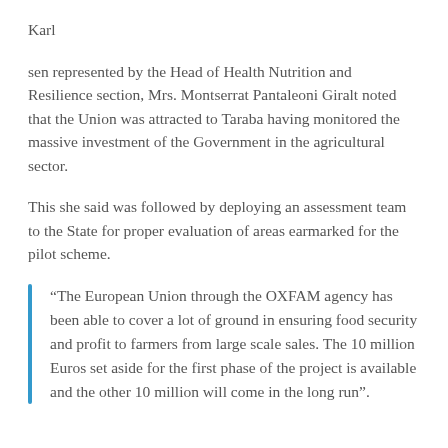Karl
sen represented by the Head of Health Nutrition and Resilience section, Mrs. Montserrat Pantaleoni Giralt noted that the Union was attracted to Taraba having monitored the massive investment of the Government in the agricultural sector.
This she said was followed by deploying an assessment team to the State for proper evaluation of areas earmarked for the pilot scheme.
“The European Union through the OXFAM agency has been able to cover a lot of ground in ensuring food security and profit to farmers from large scale sales. The 10 million Euros set aside for the first phase of the project is available and the other 10 million will come in the long run”.